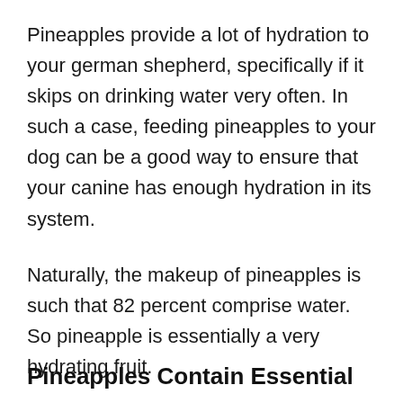Pineapples provide a lot of hydration to your german shepherd, specifically if it skips on drinking water very often. In such a case, feeding pineapples to your dog can be a good way to ensure that your canine has enough hydration in its system.
Naturally, the makeup of pineapples is such that 82 percent comprise water. So pineapple is essentially a very hydrating fruit.
Pineapples Contain Essential